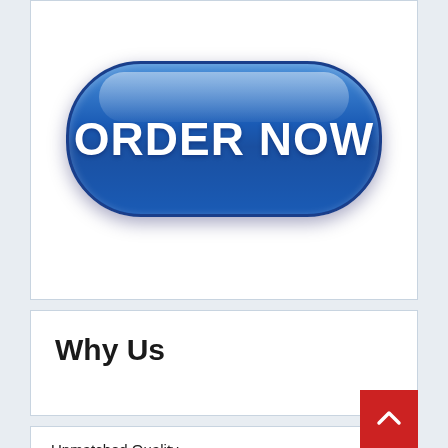[Figure (illustration): A large glossy blue pill-shaped button with white bold text reading ORDER NOW, with a gloss highlight on top and drop shadow.]
Why Us
Unmatched Quality
Plagiarism Free Work
24/7 Customer Support